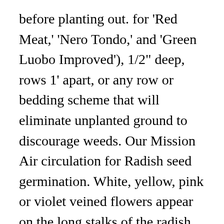before planting out. for 'Red Meat,' 'Nero Tondo,' and 'Green Luobo Improved'), 1/2" deep, rows 1' apart, or any row or bedding scheme that will eliminate unplanted ground to discourage weeds. Our Mission Air circulation for Radish seed germination. White, yellow, pink or violet veined flowers appear on the long stalks of the radish. 1. Seeds require air, just like seedlings and established plants. The radishes at Heritage Farm are in full bloom! ... Quality Darlac tools. Did you ever wonder if you could harvest radish seed pods? Radishes are classified as winter or summer: summer being small, globe-shaped or elongated, ... 2. They can be shaped like bulbs, be more elongated like fingers, or even tapering like